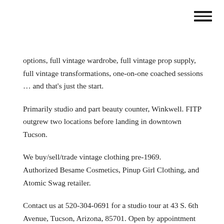[Figure (other): Hamburger menu icon (three horizontal lines) in top-right corner]
options, full vintage wardrobe, full vintage prop supply, full vintage transformations, one-on-one coached sessions … and that's just the start.
Primarily studio and part beauty counter, Winkwell. FITP outgrew two locations before landing in downtown Tucson.
We buy/sell/trade vintage clothing pre-1969.
Authorized Besame Cosmetics, Pinup Girl Clothing, and Atomic Swag retailer.
Contact us at 520-304-0691 for a studio tour at 43 S. 6th Avenue, Tucson, Arizona, 85701. Open by appointment only.